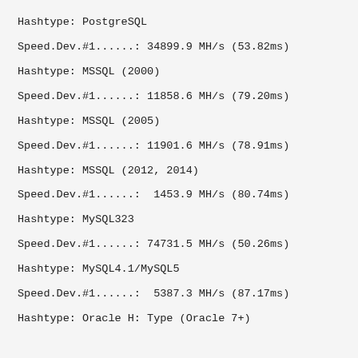Hashtype: PostgreSQL
Speed.Dev.#1......: 34899.9 MH/s (53.82ms)
Hashtype: MSSQL (2000)
Speed.Dev.#1......: 11858.6 MH/s (79.20ms)
Hashtype: MSSQL (2005)
Speed.Dev.#1......: 11901.6 MH/s (78.91ms)
Hashtype: MSSQL (2012, 2014)
Speed.Dev.#1......:  1453.9 MH/s (80.74ms)
Hashtype: MySQL323
Speed.Dev.#1......: 74731.5 MH/s (50.26ms)
Hashtype: MySQL4.1/MySQL5
Speed.Dev.#1......:  5387.3 MH/s (87.17ms)
Hashtype: Oracle H: Type (Oracle 7+)